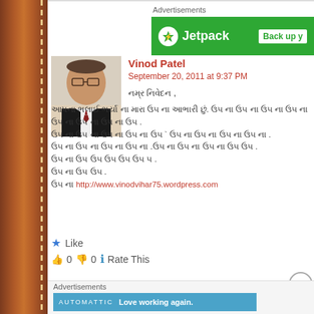[Figure (screenshot): Jetpack advertisement banner in green with logo and 'Back up y' text]
Advertisements
[Figure (photo): Avatar photo of Vinod Patel, an elderly man in a suit]
Vinod Patel
September 20, 2011 at 9:37 PM
Hindi/Gujarati text block (comment body in Devanagari script)
http://www.vinodvihar75.wordpress.com
Like
👍 0 👎 0 ℹ Rate This
Advertisements
[Figure (screenshot): Automattic advertisement banner in blue with text 'Love working again.']